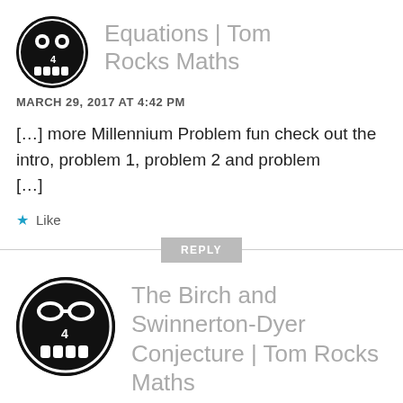Equations | Tom Rocks Maths
MARCH 29, 2017 AT 4:42 PM
[…] more Millennium Problem fun check out the intro, problem 1, problem 2 and problem […]
Like
REPLY
The Birch and Swinnerton-Dyer Conjecture | Tom Rocks Maths